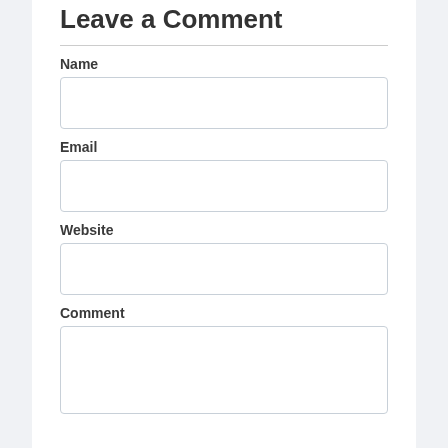Leave a Comment
Name
Email
Website
Comment